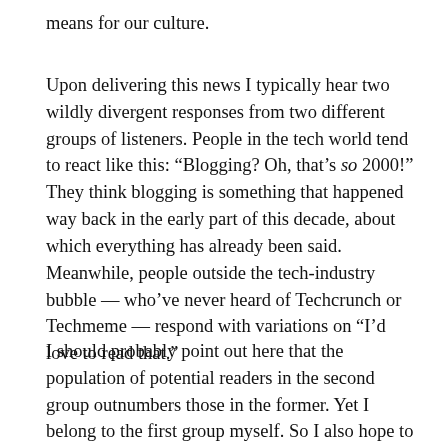means for our culture.
Upon delivering this news I typically hear two wildly divergent responses from two different groups of listeners. People in the tech world tend to react like this: “Blogging? Oh, that’s so 2000!” They think blogging is something that happened way back in the early part of this decade, about which everything has already been said. Meanwhile, people outside the tech-industry bubble — who’ve never heard of Techcrunch or Techmeme — respond with variations on “I’d love to read that.”
I should probably point out here that the population of potential readers in the second group outnumbers those in the former. Yet I belong to the first group myself. So I also hope to show the insiders that there is more to be